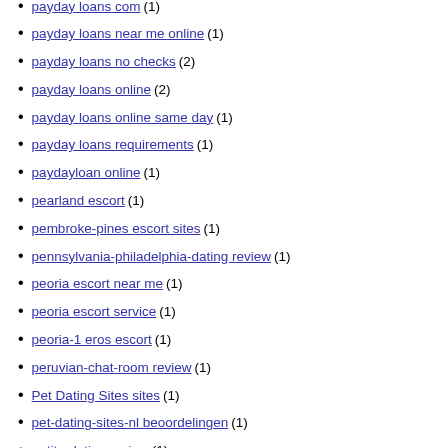payday loans com (1)
payday loans near me online (1)
payday loans no checks (2)
payday loans online (2)
payday loans online same day (1)
payday loans requirements (1)
paydayloan online (1)
pearland escort (1)
pembroke-pines escort sites (1)
pennsylvania-philadelphia-dating review (1)
peoria escort near me (1)
peoria escort service (1)
peoria-1 eros escort (1)
peruvian-chat-room review (1)
Pet Dating Sites sites (1)
pet-dating-sites-nl beoordelingen (1)
petite-dating review (1)
philadelphia escort near me (1)
philadelphia escort service (1)
philippines-dating reviews (1)
philippinische-datierung bewertung (1)
Phoenix+AZ+Arizona mobile site (1)
Phrendly visitors (2)
pilot-dating dating (1)
PinaLove review (1)